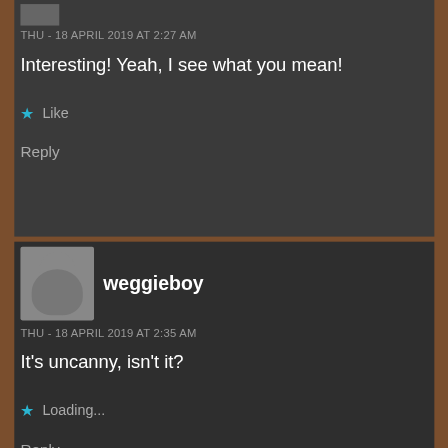THU - 18 APRIL 2019 AT 2:27 AM
Interesting! Yeah, I see what you mean!
Like
Reply
weggieboy
THU - 18 APRIL 2019 AT 2:35 AM
It's uncanny, isn't it?
Loading...
Reply
It's Stockit...